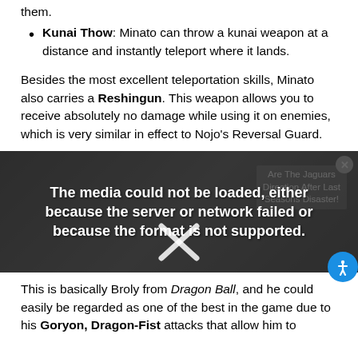Kunai Thow: Minato can throw a kunai weapon at a distance and instantly teleport where it lands.
Besides the most excellent teleportation skills, Minato also carries a Reshingun. This weapon allows you to receive absolutely no damage while using it on enemies, which is very similar in effect to Nojo's Reversal Guard.
[Figure (screenshot): Video media player showing error message: 'The media could not be loaded, either because the server or network failed or because the format is not supported.' with an X dismiss icon, overlaid on a sports/football background image. A sidebar advertisement shows text 'Are The Jaguars Direction After Last Seasons Disaster!']
This is basically Broly from Dragon Ball, and he could easily be regarded as one of the best in the game due to his Goryon, Dragon-Fist attacks that allow him to